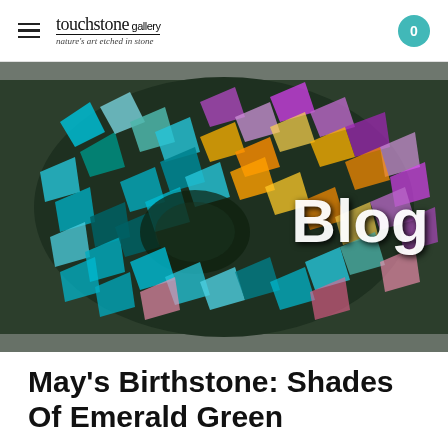touchstone gallery — nature's art etched in stone
[Figure (photo): Close-up photo of iridescent druzy crystal cluster with metallic rainbow colors (teal, purple, gold, pink) on a grey stone surface. Text 'Blog' overlaid in large white bold letters on the right side.]
May's Birthstone: Shades Of Emerald Green
4/29/2020
2 Comments